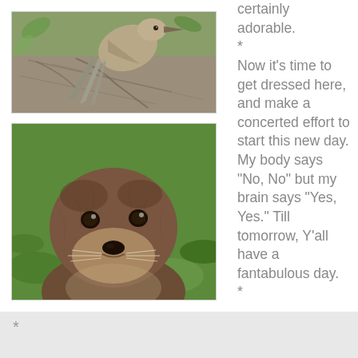[Figure (photo): Close-up photo of a bird perched on a branch or log, showing tail feathers and textured bark, with green foliage in background]
[Figure (photo): Close-up portrait photo of a river otter looking upward, with brown fur, whiskers, and green foliage in background]
certainly adorable.
*
Now it's time to get dressed here, and make a concerted effort to start this new day. My body says "No, No" but my brain says "Yes, Yes." Till tomorrow, Y'all have a fantabulous day.
*
Hugs, Edna B.